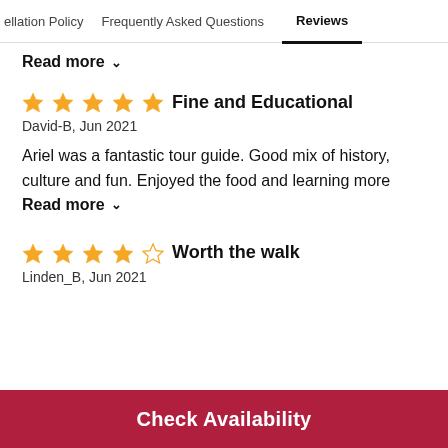ellation Policy  Frequently Asked Questions  Reviews
Read more
Fine and Educational
David-B, Jun 2021
Ariel was a fantastic tour guide. Good mix of history, culture and fun. Enjoyed the food and learning more
Read more
Worth the walk
Linden_B, Jun 2021